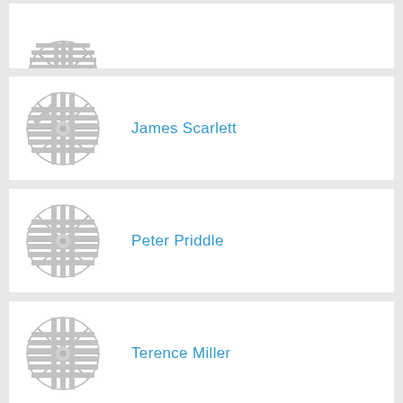[Figure (logo): Circular grey UK-style roundel/gear logo, partial view at top]
[Figure (logo): Circular grey UK-style roundel/gear logo]
James Scarlett
[Figure (logo): Circular grey UK-style roundel/gear logo]
Peter Priddle
[Figure (logo): Circular grey UK-style roundel/gear logo]
Terence Miller
[Figure (logo): Circular grey UK-style roundel/gear logo]
Ian Fenton